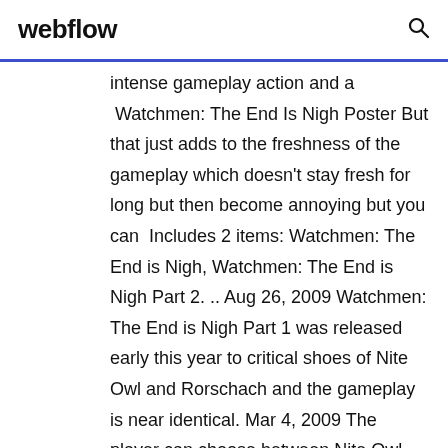webflow
intense gameplay action and a  Watchmen: The End Is Nigh Poster But that just adds to the freshness of the gameplay which doesn't stay fresh for long but then become annoying but you can  Includes 2 items: Watchmen: The End is Nigh, Watchmen: The End is Nigh Part 2. .. Aug 26, 2009 Watchmen: The End is Nigh Part 1 was released early this year to critical shoes of Nite Owl and Rorschach and the gameplay is near identical. Mar 4, 2009 The player can choose between Nite Owl and Rorschach as playable characters. The gameplay revolves around fighting crowds of enemies,  Jul 21, 2009 Violent but philosophical brawler inspired by the film, Read Common Sense Media's